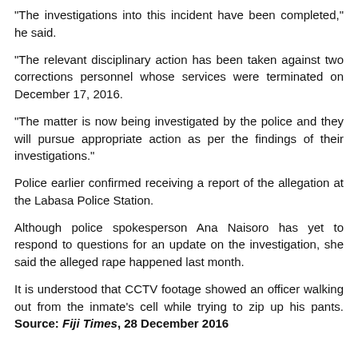"The investigations into this incident have been completed," he said.
"The relevant disciplinary action has been taken against two corrections personnel whose services were terminated on December 17, 2016.
"The matter is now being investigated by the police and they will pursue appropriate action as per the findings of their investigations."
Police earlier confirmed receiving a report of the allegation at the Labasa Police Station.
Although police spokesperson Ana Naisoro has yet to respond to questions for an update on the investigation, she said the alleged rape happened last month.
It is understood that CCTV footage showed an officer walking out from the inmate's cell while trying to zip up his pants. Source: Fiji Times, 28 December 2016